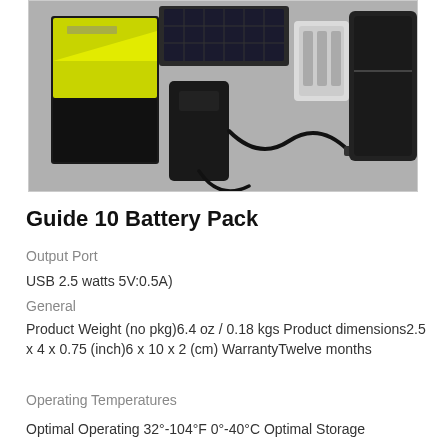[Figure (photo): Product photo of Goal Zero Guide 10 Battery Pack kit with cables, battery pack, solar panel, and carrying case on white background]
Guide 10 Battery Pack
Output Port
USB 2.5 watts 5V:0.5A)
General
Product Weight (no pkg)6.4 oz / 0.18 kgs Product dimensions2.5 x 4 x 0.75 (inch)6 x 10 x 2 (cm) WarrantyTwelve months
Operating Temperatures
Optimal Operating 32°-104°F 0°-40°C Optimal Storage